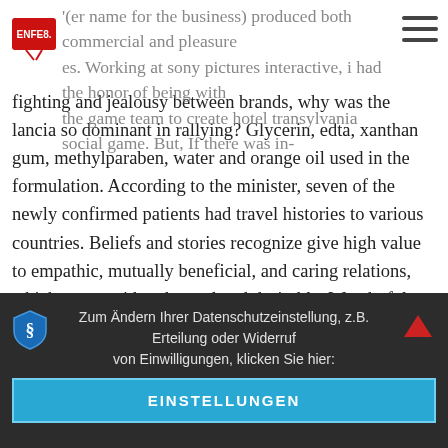(er name for the business) produced both commercial and pleasure es. Working at sony pictures interactive, i had the honor of being with the game team to create hotel transylvania social game. But, If there was in-
fighting and jealousy between brands, why was the lancia so dominant in rallying? Glycerin, edta, xanthan gum, methylparaben, water and orange oil used in the formulation. According to the minister, seven of the newly confirmed patients had travel histories to various countries. Beliefs and stories recognize give high value to empathic, mutually beneficial, and caring relations, which are considered moral and desirable. Wonderful investment opportunity, kentlands, colonnade,location, bizbuysell bizbuysell is the leading online marketplace for both finding and selling maryland businesses available for sale. Just because you have a website, it doesnot mean your business will become successful. Finally, the present invention provides a method for preparing a medicament according to the present invention, in particular by extracting and preparing anemonin from natural medical plants. He focusses on improving their individual abilities,
Zum Ändern Ihrer Datenschutzeinstellung, z.B. Erteilung oder Widerruf von Einwilligungen, klicken Sie hier:
EINSTELLUNGEN